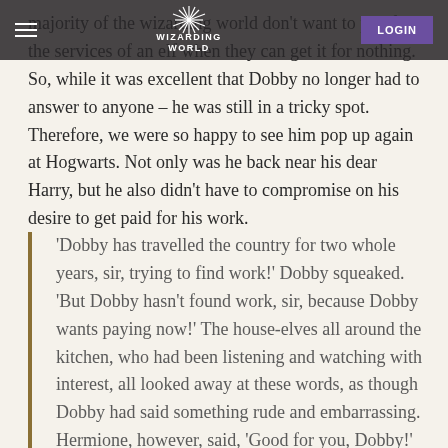Wizarding World — Navigation bar with hamburger menu, WIZARDING WORLD logo, and LOGIN button
majority of the wizarding world don't want to pay for the services of an elf when they can get it for nothing. So, while it was excellent that Dobby no longer had to answer to anyone – he was still in a tricky spot. Therefore, we were so happy to see him pop up again at Hogwarts. Not only was he back near his dear Harry, but he also didn't have to compromise on his desire to get paid for his work.
'Dobby has travelled the country for two whole years, sir, trying to find work!' Dobby squeaked. 'But Dobby hasn't found work, sir, because Dobby wants paying now!' The house-elves all around the kitchen, who had been listening and watching with interest, all looked away at these words, as though Dobby had said something rude and embarrassing. Hermione, however, said, 'Good for you, Dobby!' 'Thank you, miss!'